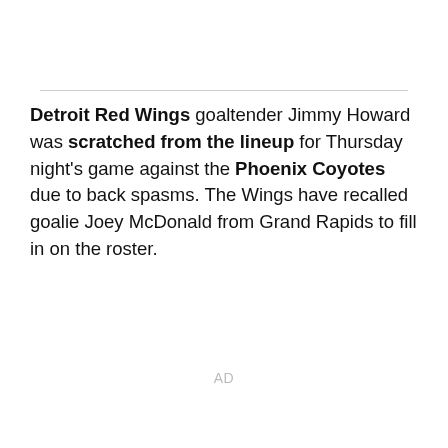Detroit Red Wings goaltender Jimmy Howard was scratched from the lineup for Thursday night's game against the Phoenix Coyotes due to back spasms. The Wings have recalled goalie Joey McDonald from Grand Rapids to fill in on the roster.
AD